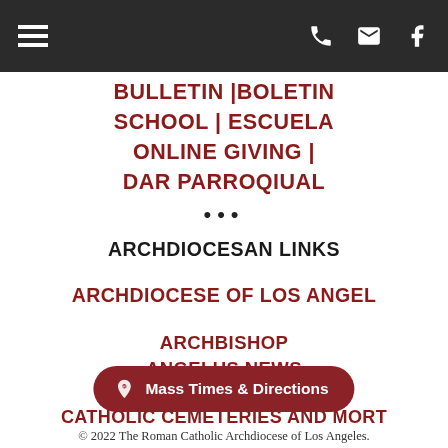Navigation header bar with hamburger menu, phone, email, and facebook icons
BULLETIN |BOLETIN
SCHOOL | ESCUELA
ONLINE GIVING |
DAR PARROQIUAL
ARCHDIOCESAN LINKS
ARCHDIOCESE OF LOS ANGELES
ARCHBISHOP
ANGELUS NEWS
SCHOOLS
CATHOLIC CEMETERIES AND MORTUARY
Mass Times & Directions
© 2022 The Roman Catholic Archdiocese of Los Angeles.